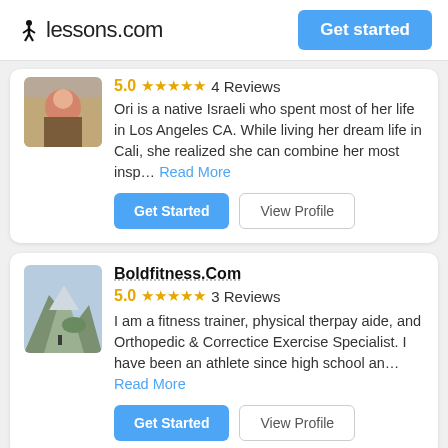lessons.com  Get started
5.0 ★★★★★ 4 Reviews
Ori is a native Israeli who spent most of her life in Los Angeles CA. While living her dream life in Cali, she realized she can combine her most insp... Read More
Get Started  View Profile
Boldfitness.Com
5.0 ★★★★★ 3 Reviews
I am a fitness trainer, physical therpay aide, and Orthopedic & Correctice Exercise Specialist.  I have been an athlete since high school an... Read More
Get Started  View Profile